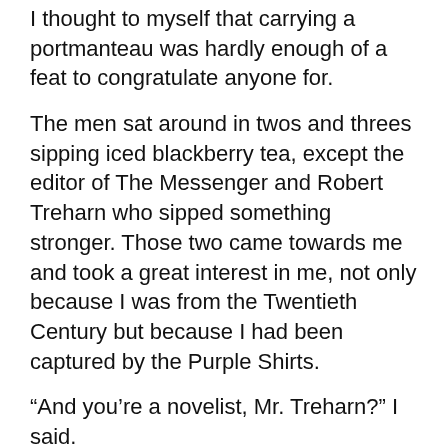I thought to myself that carrying a portmanteau was hardly enough of a feat to congratulate anyone for.
The men sat around in twos and threes sipping iced blackberry tea, except the editor of The Messenger and Robert Treharn who sipped something stronger. Those two came towards me and took a great interest in me, not only because I was from the Twentieth Century but because I had been captured by the Purple Shirts.
“And you’re a novelist, Mr. Treharn?” I said.
“So they say.”
“Have you written much?”
“Just fifteen books. But the novel isn’t what it was in your days. These vandals…” (and he looked in mock hatred at the editor of The Messenger) “…editors of